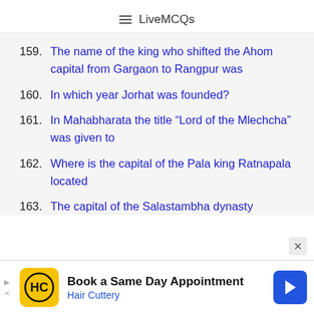LiveMCQs
159. The name of the king who shifted the Ahom capital from Gargaon to Rangpur was
160. In which year Jorhat was founded?
161. In Mahabharata the title “Lord of the Mlechcha” was given to
162. Where is the capital of the Pala king Ratnapala located
163. The capital of the Salastambha dynasty
[Figure (infographic): Advertisement banner: Hair Cuttery - Book a Same Day Appointment]